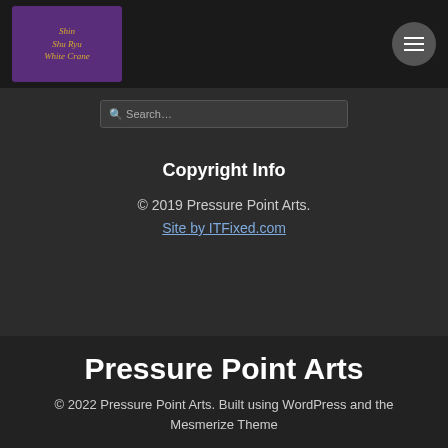[Figure (logo): Shin Shu Ryu White Crane logo with purple/dark background and gold text]
[Figure (other): Hamburger menu button (three horizontal lines) in a circular grey button]
Search…
Copyright Info
© 2019 Pressure Point Arts.
Site by ITFixed.com
Pressure Point Arts
© 2022 Pressure Point Arts. Built using WordPress and the Mesmerize Theme